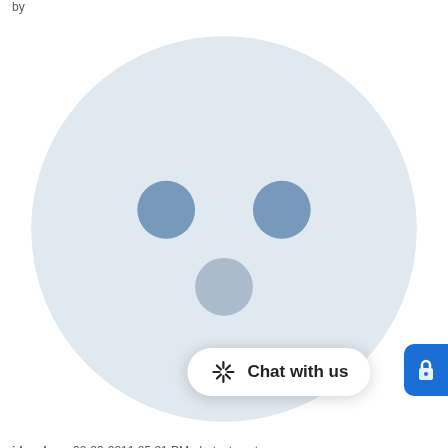by jdowdy on 02-20-2011 05:31 PM • Latest post on 02-20-2011 07:21 PM by prisaz
1 REPLY • 1496 VIEWS
Payment online does not work.
by ddddd on 02-01-2011 12:50 PM • Latest post on 02-17-2011 04:38 AM by drewisme
1 REPLY • 2195 VIEWS
Non delivery of paper bills to my address.
by Zipperzip on 02-16-2011 01:51 PM • Latest post on 02-16-2011 01:59 PM by KaLin
1 REPLY • 1381 VIEWS
Add Wireless Account t…